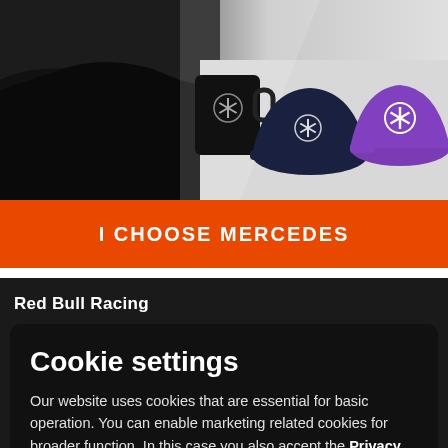[Figure (photo): Product photo showing Mercedes-AMG Petronas merchandise: a black mug with Mercedes logo, a dark navy baseball cap with Mercedes star logo, and a purple baseball cap with Mercedes star logo, against a blurred F1 car background.]
I CHOOSE MERCEDES
Red Bull Racing
Cookie settings
Our website uses cookies that are essential for basic operation. You can enable marketing related cookies for broader function. In this case you also accept the Privacy Policy
I don't agree
I AGREE